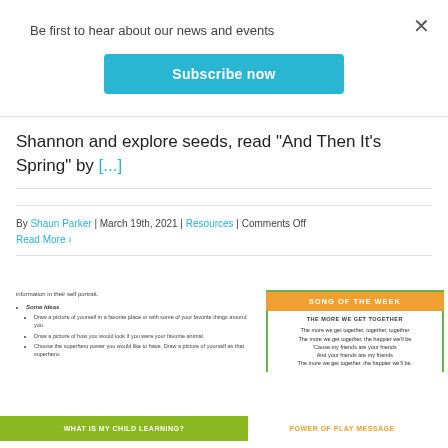Be first to hear about our news and events
Subscribe now
Shannon and explore seeds, read "And Then It's Spring" by [...]
By Shaun Parker | March 19th, 2021 | Resources | Comments Off
Read More
information in their self portrait.
Some Ideas
• Draw a picture of yourself in a favorite place or with some of your favorite things around you.
• Draw a picture of how you would look if you were your favorite animal.
• Choose the superhero power you would like to have. Draw a picture of yourself as that superhero.
[Figure (other): Song of the Week panel with orange header and song lyrics for 'The More We Get Together']
WHAT IS MY CHILD LEARNING?
POWER OF PLAY MESSAGE